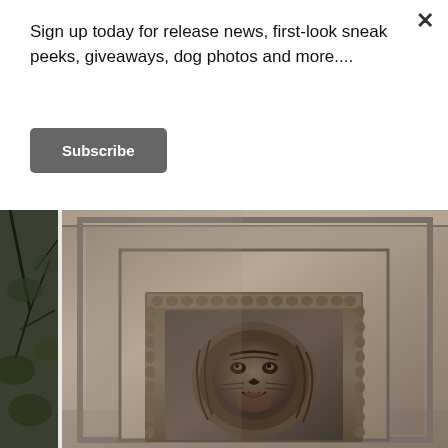Sign up today for release news, first-look sneak peeks, giveaways, dog photos and more....
Subscribe
[Figure (photo): A bronze or metal door panel with ornate decorative framing and a lion head door knocker relief in the center. Behind/beside the panel, there are tree branches visible on the left side.]